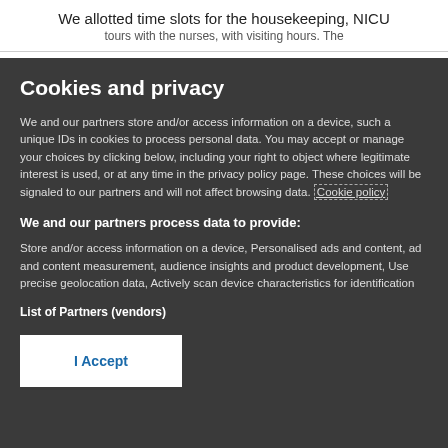We allotted time slots for the housekeeping, NICU
Cookies and privacy
We and our partners store and/or access information on a device, such a unique IDs in cookies to process personal data. You may accept or manage your choices by clicking below, including your right to object where legitimate interest is used, or at any time in the privacy policy page. These choices will be signaled to our partners and will not affect browsing data. Cookie policy
We and our partners process data to provide:
Store and/or access information on a device, Personalised ads and content, ad and content measurement, audience insights and product development, Use precise geolocation data, Actively scan device characteristics for identification
List of Partners (vendors)
I Accept